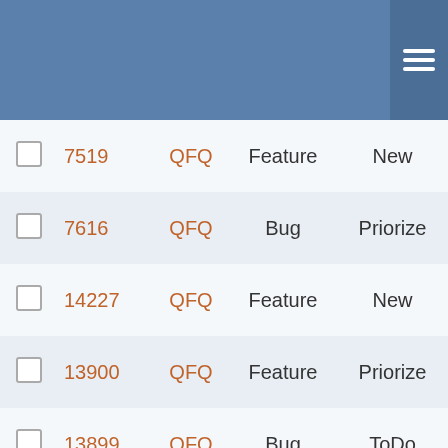|  | ID | Project | Type | Status | Priority |
| --- | --- | --- | --- | --- | --- |
|  | 7519 | QFQ | Feature | New | Nor… |
|  | 7616 | QFQ | Bug | Priorize | Nor… |
|  | 14227 | QFQ | Feature | New | Nor… |
|  | 13900 | QFQ | Feature | Priorize | Nor… |
|  | 13899 | QFQ | Bug | ToDo | Nor… |
|  | 11080 | QFQ | Feature | New | Nor… |
|  | 7014 | QFQ | Bug | New | Nor… |
|  | 4956 | QFQ | Feature | Some day maybe | Nor… |
|  | 4551 | QFQ | Feature | Some day maybe | Nor… |